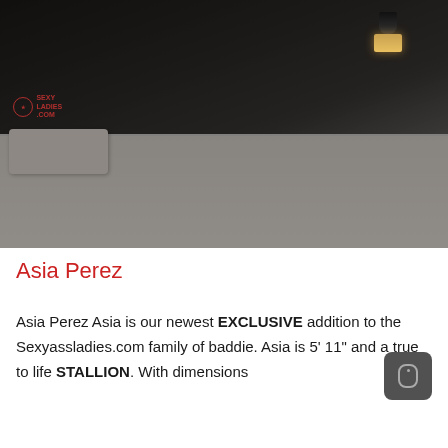[Figure (photo): Woman in red bikini posing on a bed in a dark bedroom setting. Photo has a watermark logo in the upper left area.]
Asia Perez
Asia Perez Asia is our newest EXCLUSIVE addition to the Sexyassladies.com family of baddie. Asia is 5' 11" and a true to life STALLION. With dimensions